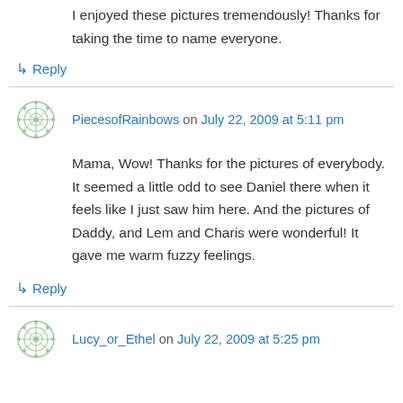I enjoyed these pictures tremendously! Thanks for taking the time to name everyone.
↳ Reply
PiecesofRainbows on July 22, 2009 at 5:11 pm
Mama, Wow! Thanks for the pictures of everybody. It seemed a little odd to see Daniel there when it feels like I just saw him here. And the pictures of Daddy, and Lem and Charis were wonderful! It gave me warm fuzzy feelings.
↳ Reply
Lucy_or_Ethel on July 22, 2009 at 5:25 pm